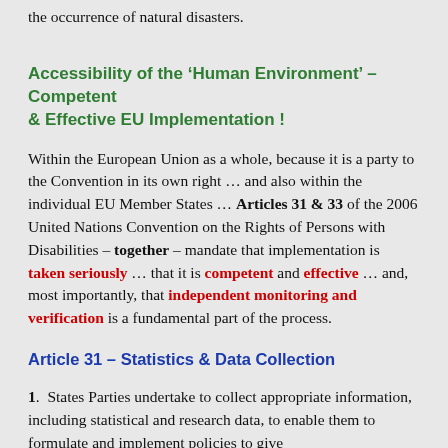the occurrence of natural disasters.
Accessibility of the ‘Human Environment’ – Competent & Effective EU Implementation !
Within the European Union as a whole, because it is a party to the Convention in its own right … and also within the individual EU Member States … Articles 31 & 33 of the 2006 United Nations Convention on the Rights of Persons with Disabilities – together – mandate that implementation is taken seriously … that it is competent and effective … and, most importantly, that independent monitoring and verification is a fundamental part of the process.
Article 31 – Statistics & Data Collection
1.  States Parties undertake to collect appropriate information, including statistical and research data, to enable them to formulate and implement policies to give